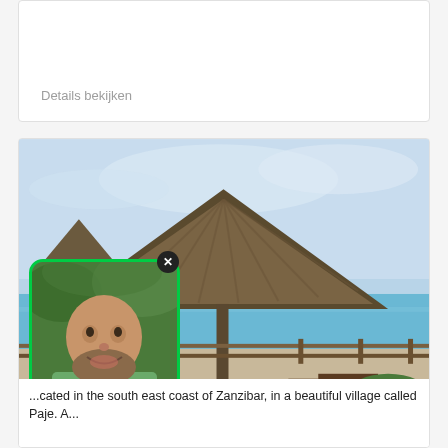Details bekijken
[Figure (photo): Beach scene with large thatched umbrella/hut structures, turquoise ocean in background, sandy area with outdoor furniture, blue sky with light clouds]
[Figure (photo): Portrait of a bald man with a beard wearing a green safari-style vest with 'Africa' text, smiling, with green foliage background, shown in an overlay with green border and close button]
...cated in the south east coast of Zanzibar, in a beautiful village called Paje. A...